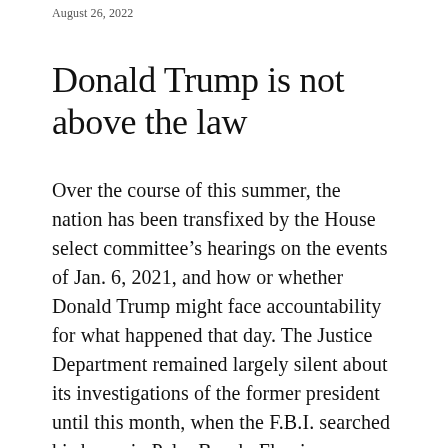August 26, 2022
Donald Trump is not above the law
Over the course of this summer, the nation has been transfixed by the House select committee’s hearings on the events of Jan. 6, 2021, and how or whether Donald Trump might face accountability for what happened that day. The Justice Department remained largely silent about its investigations of the former president until this month, when the F.B.I. searched his home in Palm Beach, Fla., in a case related to his handling of classified documents. The spectacle of a former president facing criminal